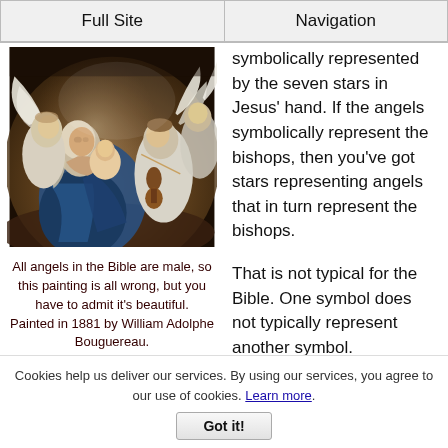Full Site | Navigation
[Figure (photo): Painting of the Virgin Mary holding the infant Jesus, surrounded by female angels playing musical instruments, including a violin. Painted in 1881 by William Adolphe Bouguereau.]
All angels in the Bible are male, so this painting is all wrong, but you have to admit it's beautiful.
Painted in 1881 by William Adolphe Bouguereau.
symbolically represented by the seven stars in Jesus' hand. If the angels symbolically represent the bishops, then you've got stars representing angels that in turn represent the bishops.
That is not typical for the Bible. One symbol does not typically represent another symbol.
Cookies help us deliver our services. By using our services, you agree to our use of cookies. Learn more.